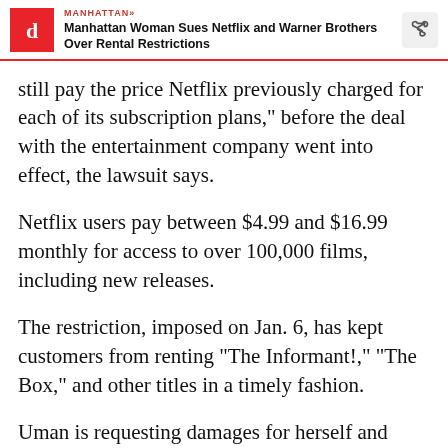MANHATTAN» Manhattan Woman Sues Netflix and Warner Brothers Over Rental Restrictions
still pay the price Netflix previously charged for each of its subscription plans," before the deal with the entertainment company went into effect, the lawsuit says.
Netflix users pay between $4.99 and $16.99 monthly for access to over 100,000 films, including new releases.
The restriction, imposed on Jan. 6, has kept customers from renting "The Informant!," "The Box," and other titles in a timely fashion.
Uman is requesting damages for herself and other affected customers who have been "forced to pay artificially inflated subscription fees."